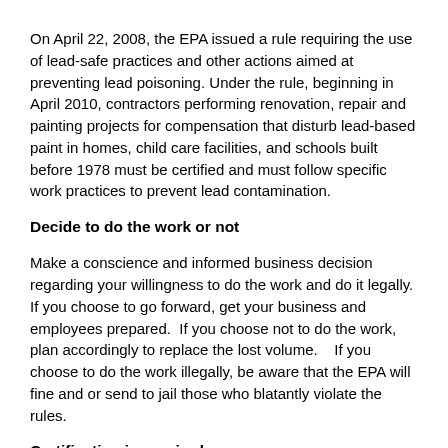On April 22, 2008, the EPA issued a rule requiring the use of lead-safe practices and other actions aimed at preventing lead poisoning. Under the rule, beginning in April 2010, contractors performing renovation, repair and painting projects for compensation that disturb lead-based paint in homes, child care facilities, and schools built before 1978 must be certified and must follow specific work practices to prevent lead contamination.
Decide to do the work or not
Make a conscience and informed business decision regarding your willingness to do the work and do it legally.  If you choose to go forward, get your business and employees prepared.  If you choose not to do the work, plan accordingly to replace the lost volume.   If you choose to do the work illegally, be aware that the EPA will fine and or send to jail those who blatantly violate the rules.
Certification is required
Beginning April 22, 2010, firms working in pre-1978 homes will need to be certified before offering or performing the work.